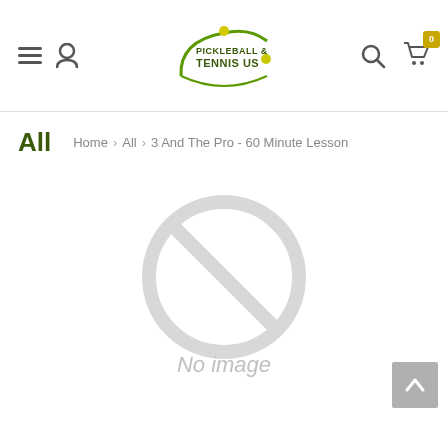Pickleball & Tennis US — navigation header with logo, hamburger menu, user icon, search icon, cart (0)
All
Home > All > 3 And The Pro - 60 Minute Lesson
[Figure (other): No image placeholder: a large grey circle with a diagonal slash through it, and the text 'No image' below in grey italic]
No image